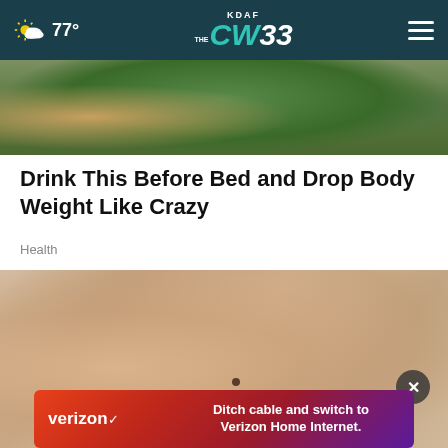KDAF CW 33 — 77°
[Figure (photo): Top cropped photo of drinks/vegetables in glasses, outdoor garden setting]
Drink This Before Bed and Drop Body Weight Like Crazy
Health
[Figure (photo): Close-up photo of a person pinching skin on their stomach/side, with a small mole visible]
[Figure (other): Verizon advertisement banner: 'Ditch cable and switch to Verizon Home Internet.']